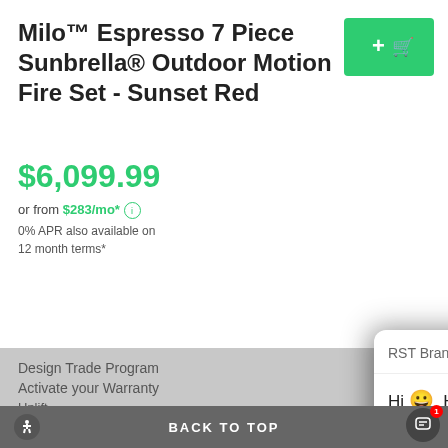Milo™ Espresso 7 Piece Sunbrella® Outdoor Motion Fire Set - Sunset Red
$6,099.99
or from $283/mo* ℹ
0% APR also available on
12 month terms*
Design Trade Program
Activate your Warranty
Uplift
Check your Order Status
[Figure (screenshot): Chat popup from RST Brands with greeting message and support text. Header shows 'RST Brands' with close button. Message reads: 'Hi 😀 Have a look around! Let us know if you have any questions. If you see an item currently Out Of Stock we can help. We have plenty of options.' Reply input field at bottom.]
Copyright © 2022 RST Brands, LLC
All Rights Reserved Salt Lake City, UT 84119
Privacy Policy
Terms & Conditions
BACK TO TOP